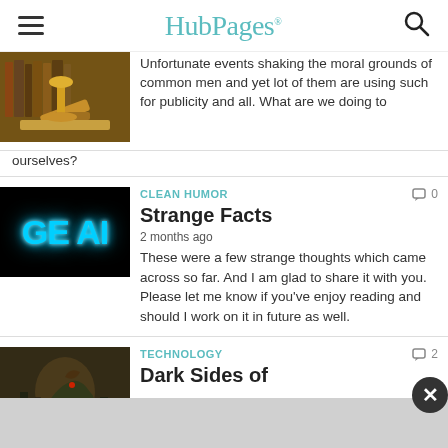HubPages
Unfortunate events shaking the moral grounds of common men and yet lot of them are using such for publicity and all. What are we doing to ourselves?
[Figure (photo): Thumbnail image of law books and a gavel on a wooden desk]
CLEAN HUMOR
0 comments
Strange Facts
2 months ago
These were a few strange thoughts which came across so far. And I am glad to share it with you. Please let me know if you've enjoy reading and should I work on it in future as well.
[Figure (photo): Thumbnail showing neon blue text 'GE AI' on black background]
TECHNOLOGY
2 comments
Dark Sides of Technology
[Figure (photo): Thumbnail showing a dark fantasy illustration with a dragon figure]